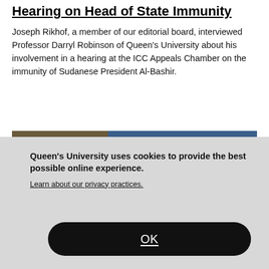Hearing on Head of State Immunity
Joseph Rikhof, a member of our editorial board, interviewed Professor Darryl Robinson of Queen's University about his involvement in a hearing at the ICC Appeals Chamber on the immunity of Sudanese President Al-Bashir.
[Figure (photo): Photograph showing a painted mural or artwork in the lower left and a blue sky in the background, cropped at the bottom by the cookie consent overlay.]
Queen's University uses cookies to provide the best possible online experience.
Learn about our privacy practices.
OK